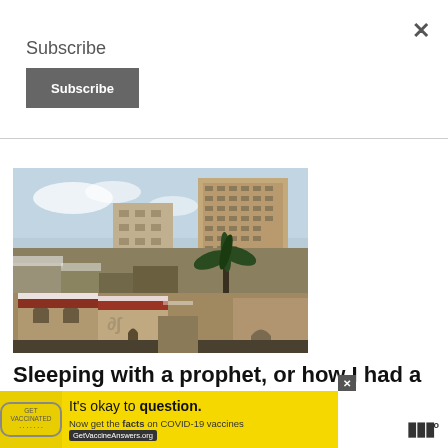Subscribe
Subscribe
[Figure (photo): Aerial/rooftop view of a Middle Eastern city (Jerusalem) showing stone buildings, red-tiled rooftops with snow, a palm tree, and tall modern buildings in the background against a hazy sky.]
Sleeping with a prophet, or how I had a lot of f...
[Figure (infographic): Yellow advertisement banner: 'It's okay to question. Now get the facts on COVID-19 vaccines GetVaccineAnswers.org' with a circular stamp logo on the left and a dark website button.]